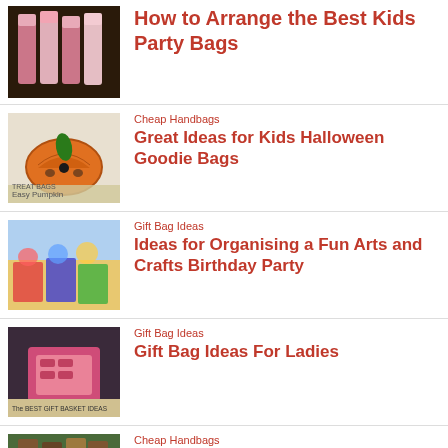[Figure (photo): Pink party bags arranged on a dark surface]
How to Arrange the Best Kids Party Bags
[Figure (photo): Pumpkin shaped treat bag for Halloween]
Cheap Handbags
Great Ideas for Kids Halloween Goodie Bags
[Figure (photo): Colorful arts and crafts birthday party table setup]
Gift Bag Ideas
Ideas for Organising a Fun Arts and Crafts Birthday Party
[Figure (photo): Gift basket with pink items labeled The Best Gift Basket Ideas]
Gift Bag Ideas
Gift Bag Ideas For Ladies
[Figure (photo): Partial view of item at bottom]
Cheap Handbags